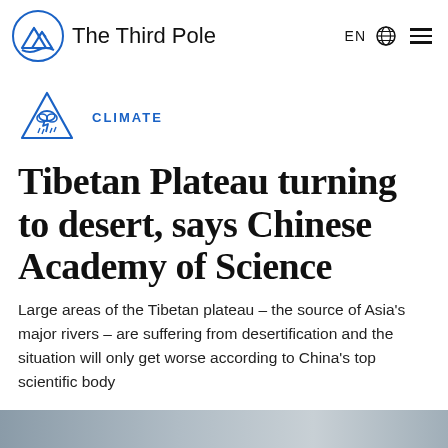The Third Pole
CLIMATE
Tibetan Plateau turning to desert, says Chinese Academy of Science
Large areas of the Tibetan plateau – the source of Asia's major rivers – are suffering from desertification and the situation will only get worse according to China's top scientific body
[Figure (other): Social share buttons: share, link, and Creative Commons icons in blue circles]
[Figure (photo): Partially visible photo strip at the bottom of the page]